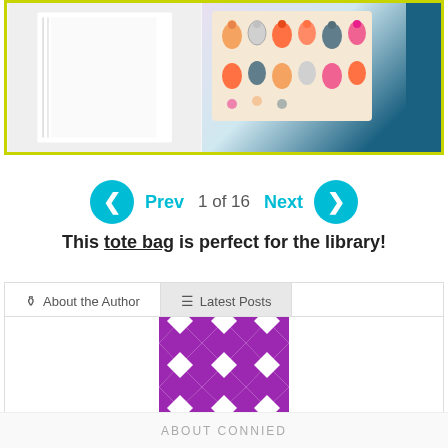[Figure (photo): Tote bag with colorful cat print fabric shown inside a yellow-green bordered frame]
Prev  1 of 16  Next
This tote bag is perfect for the library!
About the Author
Latest Posts
[Figure (illustration): Purple and white geometric quilt pattern avatar image]
ABOUT CONNIED